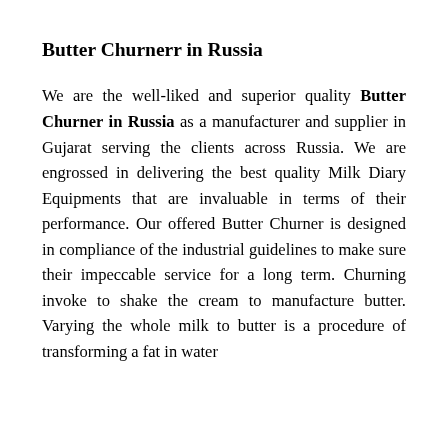Butter Churnerr in Russia
We are the well-liked and superior quality Butter Churner in Russia as a manufacturer and supplier in Gujarat serving the clients across Russia. We are engrossed in delivering the best quality Milk Diary Equipments that are invaluable in terms of their performance. Our offered Butter Churner is designed in compliance of the industrial guidelines to make sure their impeccable service for a long term. Churning invoke to shake the cream to manufacture butter. Varying the whole milk to butter is a procedure of transforming a fat in water emulsions. Butter is valued for cream that